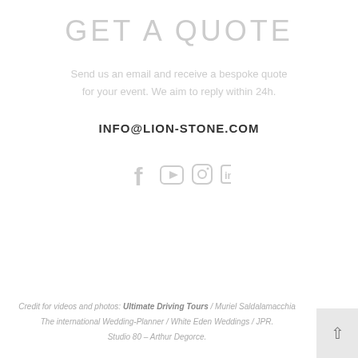GET A QUOTE
Send us an email and receive a bespoke quote for your event. We aim to reply within 24h.
INFO@LION-STONE.COM
[Figure (infographic): Four social media icons in light gray: Facebook, YouTube, Instagram, LinkedIn]
Credit for videos and photos: Ultimate Driving Tours / Muriel Saldalamacchia The international Wedding-Planner / White Eden Weddings / JPR. Studio 80 – Arthur Degorce.